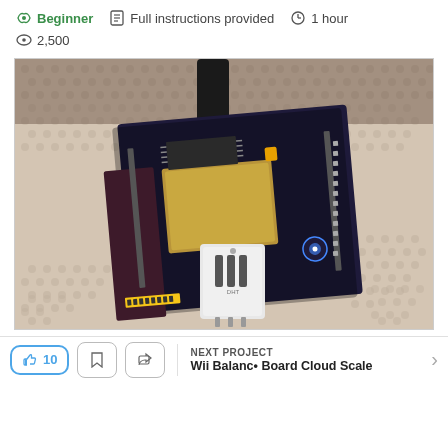Beginner   Full instructions provided   1 hour   2,500
[Figure (photo): An ESP32 or similar microcontroller development board with a DHT temperature and humidity sensor attached, sitting on a white textured surface with a USB cable plugged in.]
👍 10   NEXT PROJECT   Wii Balance Board Cloud Scale